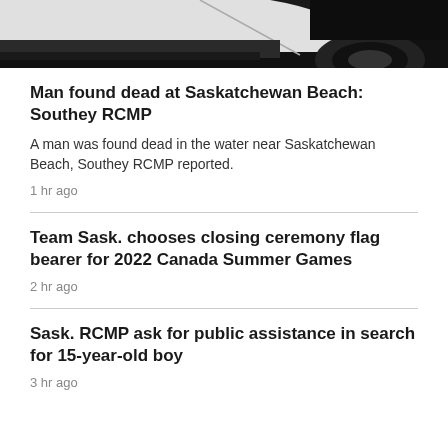[Figure (photo): Partial view of a white vehicle, showing the side door and a tire, against a dark background]
Man found dead at Saskatchewan Beach: Southey RCMP
A man was found dead in the water near Saskatchewan Beach, Southey RCMP reported.
1 hr ago
Team Sask. chooses closing ceremony flag bearer for 2022 Canada Summer Games
2 hr ago
Sask. RCMP ask for public assistance in search for 15-year-old boy
3 hr ago